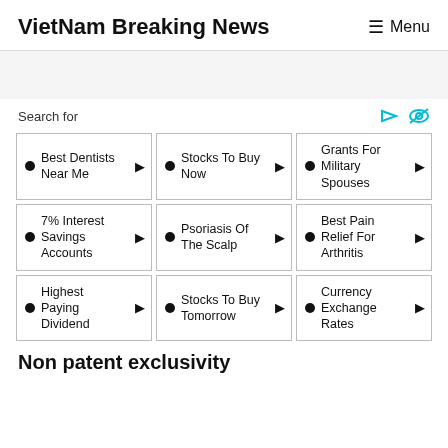VietNam Breaking News  ☰ Menu
Search for
Best Dentists Near Me
Stocks To Buy Now
Grants For Military Spouses
7% Interest Savings Accounts
Psoriasis Of The Scalp
Best Pain Relief For Arthritis
Highest Paying Dividend
Stocks To Buy Tomorrow
Currency Exchange Rates
Non patent exclusivity